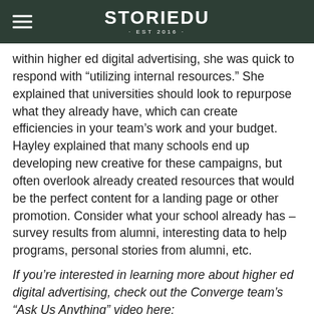STORIEDU · EST 2016 ·
within higher ed digital advertising, she was quick to respond with “utilizing internal resources.” She explained that universities should look to repurpose what they already have, which can create efficiencies in your team’s work and your budget. Hayley explained that many schools end up developing new creative for these campaigns, but often overlook already created resources that would be the perfect content for a landing page or other promotion. Consider what your school already has – survey results from alumni, interesting data to help programs, personal stories from alumni, etc.
If you’re interested in learning more about higher ed digital advertising, check out the Converge team’s “Ask Us Anything” video here: http://convergeconsulting.org/webinar/digital-advertising-ask-us-anything/